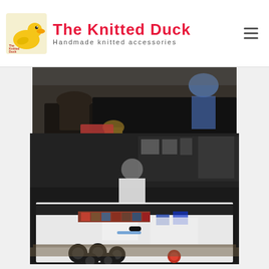The Knitted Duck — Handmade knitted accessories
[Figure (photo): Indoor craft fair scene showing people seated at tables with black tablecloths, from an elevated angle]
[Figure (photo): Person leaning over a large white table covered with craft materials including knitted, crocheted and cut felt shapes, black circular pieces, and other craft items, viewed from above]
The parts were made up of knitted, crocheted and cut felt shapes, all made from templates along in order that each component